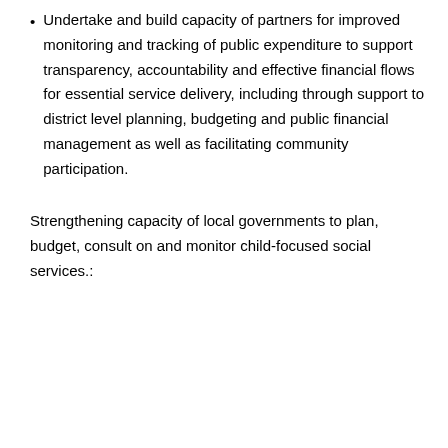Undertake and build capacity of partners for improved monitoring and tracking of public expenditure to support transparency, accountability and effective financial flows for essential service delivery, including through support to district level planning, budgeting and public financial management as well as facilitating community participation.
Strengthening capacity of local governments to plan, budget, consult on and monitor child-focused social services.: